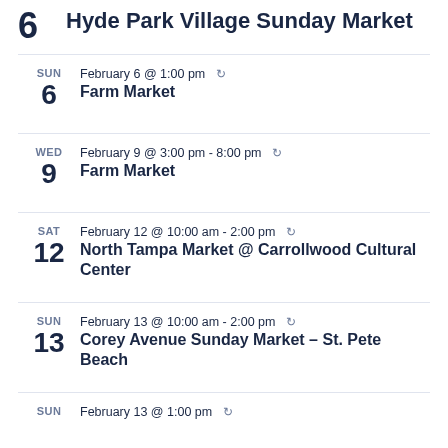6 Hyde Park Village Sunday Market
SUN 6 | February 6 @ 1:00 pm ↻ | Farm Market
WED 9 | February 9 @ 3:00 pm - 8:00 pm ↻ | Farm Market
SAT 12 | February 12 @ 10:00 am - 2:00 pm ↻ | North Tampa Market @ Carrollwood Cultural Center
SUN 13 | February 13 @ 10:00 am - 2:00 pm ↻ | Corey Avenue Sunday Market – St. Pete Beach
SUN | February 13 @ 1:00 pm ↻